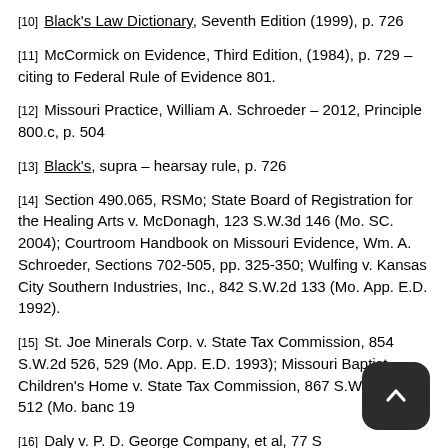[10] Black's Law Dictionary, Seventh Edition (1999), p. 726
[11] McCormick on Evidence, Third Edition, (1984), p. 729 – citing to Federal Rule of Evidence 801.
[12] Missouri Practice, William A. Schroeder – 2012, Principle 800.c, p. 504
[13] Black's, supra – hearsay rule, p. 726
[14] Section 490.065, RSMo; State Board of Registration for the Healing Arts v. McDonagh, 123 S.W.3d 146 (Mo. SC. 2004); Courtroom Handbook on Missouri Evidence, Wm. A. Schroeder, Sections 702-505, pp. 325-350; Wulfing v. Kansas City Southern Industries, Inc., 842 S.W.2d 133 (Mo. App. E.D. 1992).
[15] St. Joe Minerals Corp. v. State Tax Commission, 854 S.W.2d 526, 529 (Mo. App. E.D. 1993); Missouri Baptist Children's Home v. State Tax Commission, 867 S.W.2d 510, 512 (Mo. banc 19…
[16] Daly v. P. D. George Company, et al, 77 S